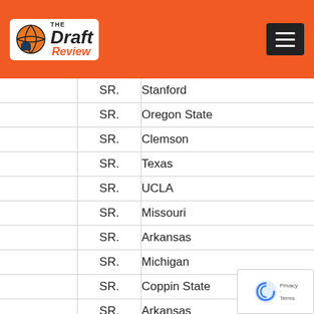The Draft Review
|  | Year | School |
| --- | --- | --- |
|  | SR. | Stanford |
|  | SR. | Oregon State |
|  | SR. | Clemson |
|  | SR. | Texas |
|  | SR. | UCLA |
|  | SR. | Missouri |
|  | SR. | Arkansas |
|  | SR. | Michigan |
|  | SR. | Coppin State |
|  | SR. | Arkansas |
|  | SR. | Allen (SC) |